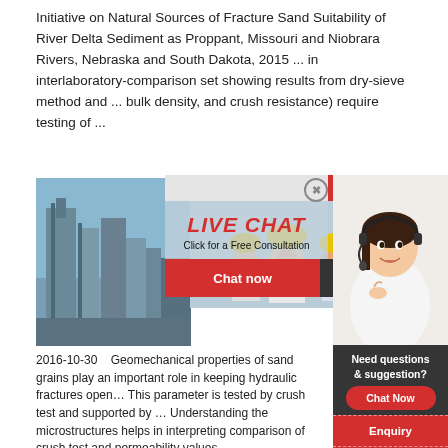Initiative on Natural Sources of Fracture Sand Suitability of River Delta Sediment as Proppant, Missouri and Niobrara Rivers, Nebraska and South Dakota, 2015 ... in interlaboratory-comparison set showing results from dry-sieve method and ... bulk density, and crush resistance) require testing of ...
[Figure (photo): Photo of an industrial facility (left) and workers wearing yellow hard hats (right), with a live chat popup overlay showing 'LIVE CHAT - Click for a Free Consultation' with 'Chat now' and 'Chat later' buttons, a '24Hrs Online' badge, and a customer service agent photo on the right side.]
2016-10-30    Geomechanical properties of sand grains play an important role in keeping hydraulic fractures open ... This parameter is tested by crush test and supported by ... Understanding the microstructures helps in interpreting comparison of crush test and permeability values.
[Figure (infographic): Right side panel with 'Need questions & suggestion?' box, 'Chat Now' oval button, 'Enquiry' section, and 'limingjlmofen' text, all on red background.]